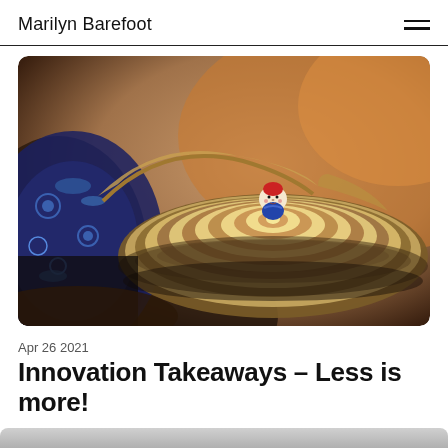Marilyn Barefoot
[Figure (photo): A close-up photograph of nested Russian matryoshka doll parts (wooden rings/layers) spread open in a spiral pattern with the smallest painted doll figure visible in the center. A blue and white decorated doll is partially visible on the left. Warm brown/orange background tones.]
Apr 26 2021
Innovation Takeaways – Less is more!